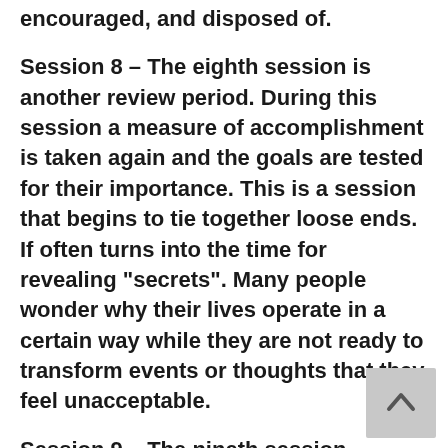encouraged, and disposed of.
Session 8 – The eighth session is another review period. During this session a measure of accomplishment is taken again and the goals are tested for their importance. This is a session that begins to tie together loose ends. If often turns into the time for revealing “secrets”. Many people wonder why their lives operate in a certain way while they are not ready to transform events or thoughts that they feel unacceptable.
Session 9 – The nineth session continues with whatever “revelations” from session 8. Actually, these